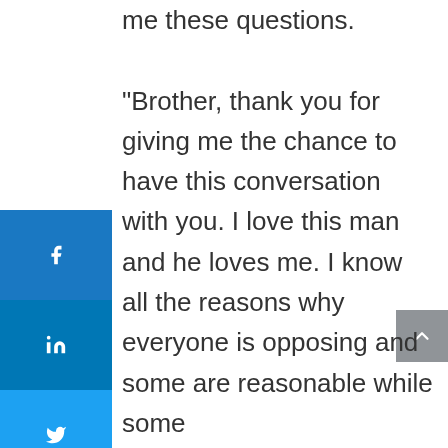me these questions.

“Brother, thank you for giving me the chance to have this conversation with you. I love this man and he loves me. I know all the reasons why everyone is opposing and some are reasonable while some
[Figure (other): Social sharing sidebar with Facebook, LinkedIn, Twitter, Email, and Print buttons]